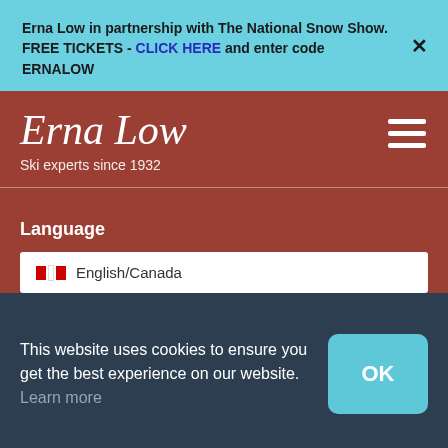Erna Low in partnership with The National Snow Show. FREE TICKETS - CLICK HERE and enter code ERNALOW
Erna Low — Ski experts since 1932
Language
English/Canada
This website uses cookies to ensure you get the best experience on our website. Learn more